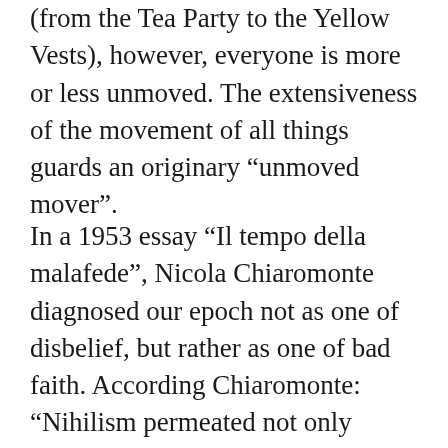(from the Tea Party to the Yellow Vests), however, everyone is more or less unmoved. The extensiveness of the movement of all things guards an originary “unmoved mover”.
In a 1953 essay “Il tempo della malafede”, Nicola Chiaromonte diagnosed our epoch not as one of disbelief, but rather as one of bad faith. According Chiaromonte: “Nihilism permeated not only intellectual groups but all of European society. This means that men began to feel that no believe was strong enough to withstand the pressure of faits accomplis. It is a very small step from this